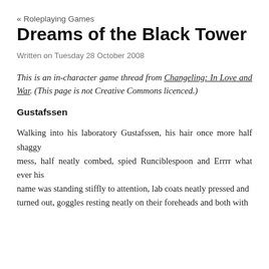« Roleplaying Games
Dreams of the Black Tower
Written on Tuesday 28 October 2008
This is an in-character game thread from Changeling: In Love and War. (This page is not Creative Commons licenced.)
Gustafssen
Walking into his laboratory Gustafssen, his hair once more half shaggy
mess, half neatly combed, spied Runciblespoon and Errrr what ever his
name was standing stiffly to attention, lab coats neatly pressed and
turned out, goggles resting neatly on their foreheads and both with